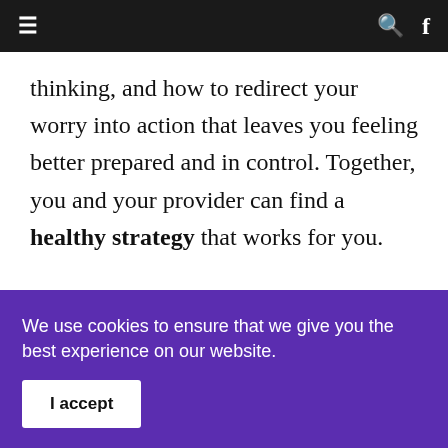≡  🔍  f
thinking, and how to redirect your worry into action that leaves you feeling better prepared and in control. Together, you and your provider can find a healthy strategy that works for you.
When our anxiety is lowered, we make
We use cookies to ensure that we give you the best experience on our website.
I accept